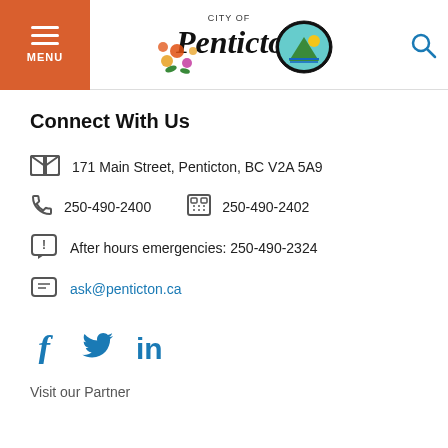[Figure (logo): City of Penticton logo with colorful flowers and mountain/water scene]
Connect With Us
171 Main Street, Penticton, BC V2A 5A9
250-490-2400   250-490-2402
After hours emergencies: 250-490-2324
ask@penticton.ca
[Figure (illustration): Social media icons: Facebook (f), Twitter (bird), LinkedIn (in)]
Visit our Partner